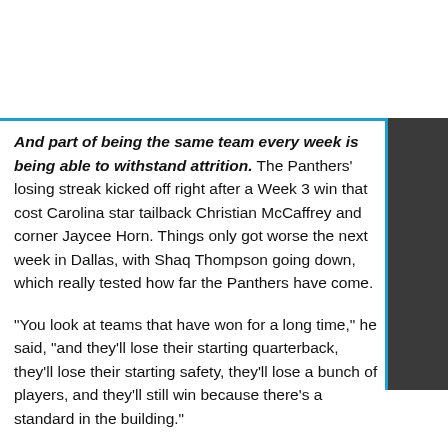And part of being the same team every week is being able to withstand attrition. The Panthers' losing streak kicked off right after a Week 3 win that cost Carolina star tailback Christian McCaffrey and corner Jaycee Horn. Things only got worse the next week in Dallas, with Shaq Thompson going down, which really tested how far the Panthers have come.
"You look at teams that have won for a long time," he said, "and they'll lose their starting quarterback, they'll lose their starting safety, they'll lose a bunch of players, and they'll still win because there's a standard in the building."